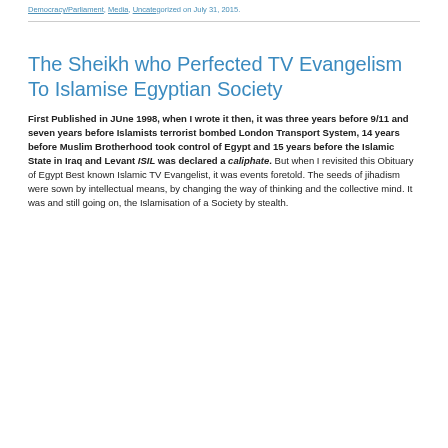Democracy/Parliament, Media, Uncategorized on July 31, 2015.
The Sheikh who Perfected TV Evangelism To Islamise Egyptian Society
First Published in JUne 1998, when I wrote it then, it was three years before 9/11 and seven years before Islamists terrorist bombed London Transport System, 14 years before Muslim Brotherhood took control of Egypt and 15 years before the Islamic State in Iraq and Levant ISIL was declared a caliphate. But when I revisited this Obituary of Egypt Best known Islamic TV Evangelist, it was events foretold. The seeds of jihadism were sown by intellectual means, by changing the way of thinking and the collective mind. It was and still going on, the Islamisation of a Society by stealth.